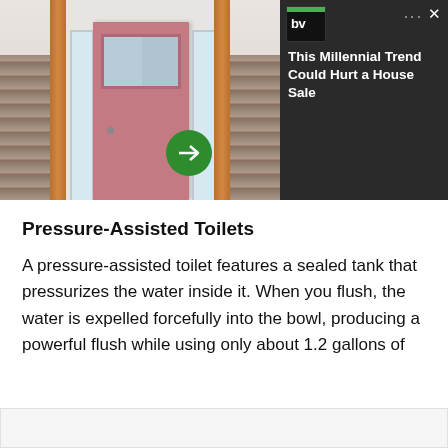[Figure (photo): Advertisement banner showing a house with pink front door. Dark right panel with text 'This Millennial Trend Could Hurt a House Sale' and a green arrow button. 'bv' logo in top left corner with green bar accent. X close button.]
Pressure-Assisted Toilets
A pressure-assisted toilet features a sealed tank that pressurizes the water inside it. When you flush, the water is expelled forcefully into the bowl, producing a powerful flush while using only about 1.2 gallons of